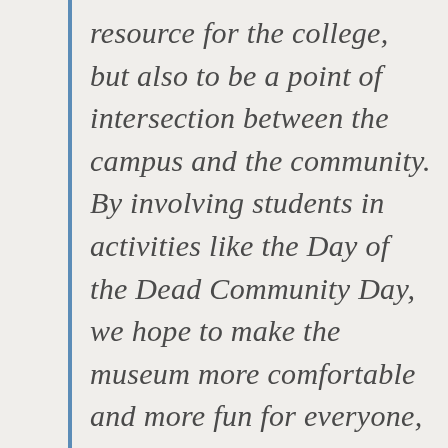resource for the college, but also to be a point of intersection between the campus and the community. By involving students in activities like the Day of the Dead Community Day, we hope to make the museum more comfortable and more fun for everyone, from the